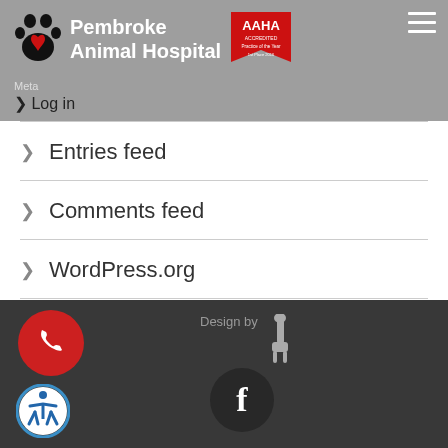[Figure (logo): Pembroke Animal Hospital logo with paw print and heart, AAHA Accredited Practice of the Year badge, hamburger menu icon]
Meta > Log in
> Entries feed
> Comments feed
> WordPress.org
Design by [giraffe logo] | Phone button | Accessibility button | Facebook button